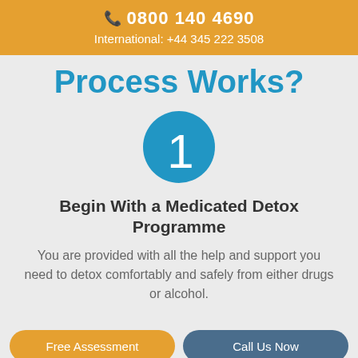📞 0800 140 4690
International: +44 345 222 3508
Process Works?
[Figure (illustration): Blue circle with the number 1 in white]
Begin With a Medicated Detox Programme
You are provided with all the help and support you need to detox comfortably and safely from either drugs or alcohol.
Free Assessment | Call Us Now